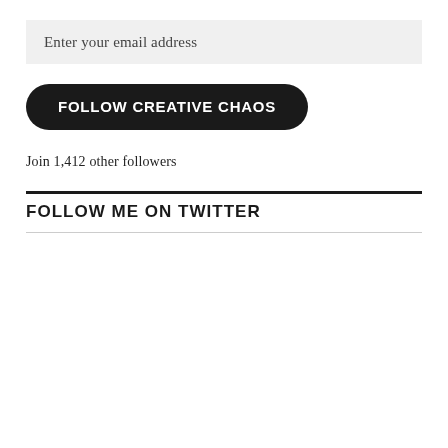Enter your email address
FOLLOW CREATIVE CHAOS
Join 1,412 other followers
FOLLOW ME ON TWITTER